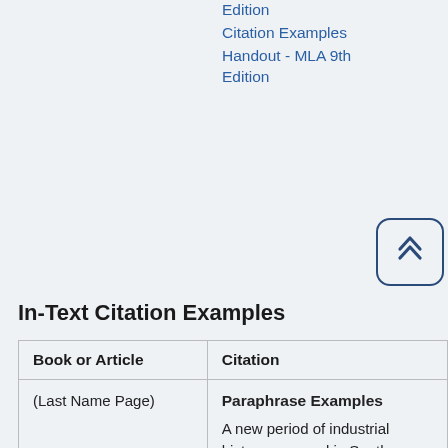Edition
Citation Examples
Handout - MLA 9th Edition
In-Text Citation Examples
| Book or Article | Citation |
| --- | --- |
| (Last Name Page) | Paraphrase Examples

A new period of industrial history emerged in South Wales after the coal stoppage of 1898. The class |